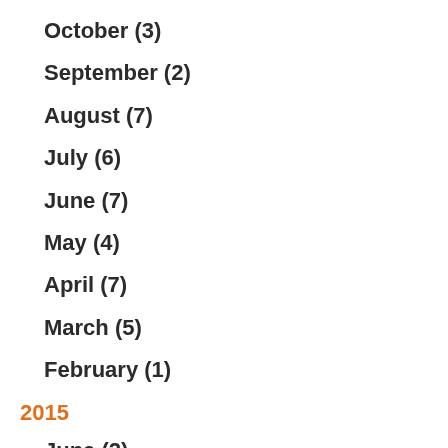October (3)
September (2)
August (7)
July (6)
June (7)
May (4)
April (7)
March (5)
February (1)
2015
June (2)
May (4)
April (2)